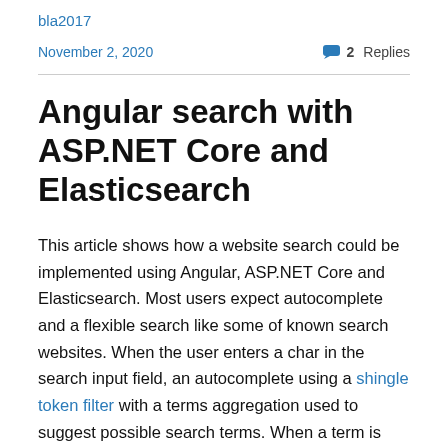bla2017
November 2, 2020   2 Replies
Angular search with ASP.NET Core and Elasticsearch
This article shows how a website search could be implemented using Angular, ASP.NET Core and Elasticsearch. Most users expect autocomplete and a flexible search like some of known search websites. When the user enters a char in the search input field, an autocomplete using a shingle token filter with a terms aggregation used to suggest possible search terms. When a term is selected, a match query request is sent and uses an edge ngram indexed field to search for hits or matches